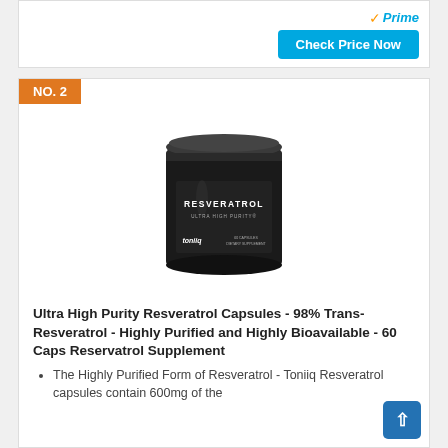[Figure (other): Amazon Prime logo and Check Price Now button in a white card at top]
NO. 2
[Figure (photo): Black cylindrical jar of Toniiq Resveratrol dietary supplement, labeled RESVERATROL ULTRA HIGH PURITY, 60 CAPSULES DIETARY SUPPLEMENT]
Ultra High Purity Resveratrol Capsules - 98% Trans-Resveratrol - Highly Purified and Highly Bioavailable - 60 Caps Reservatrol Supplement
The Highly Purified Form of Resveratrol - Toniiq Resveratrol capsules contain 600mg of the